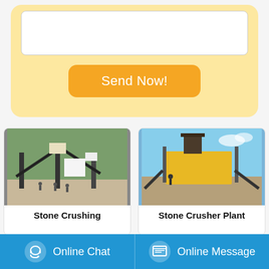[Figure (screenshot): Text input area / form box (white rounded rectangle on yellow background)]
Send Now!
[Figure (photo): Stone crushing plant machinery with conveyor belts, set in a mountainous landscape with workers visible]
[Figure (photo): Stone crusher plant - yellow screening machine in an arid outdoor environment with a person standing nearby]
Stone Crushing
Stone Crusher Plant
Online Chat
Online Message